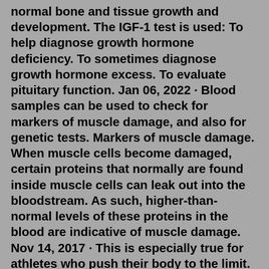normal bone and tissue growth and development. The IGF-1 test is used: To help diagnose growth hormone deficiency. To sometimes diagnose growth hormone excess. To evaluate pituitary function. Jan 06, 2022 · Blood samples can be used to check for markers of muscle damage, and also for genetic tests. Markers of muscle damage. When muscle cells become damaged, certain proteins that normally are found inside muscle cells can leak out into the bloodstream. As such, higher-than-normal levels of these proteins in the blood are indicative of muscle damage. Nov 14, 2017 · This is especially true for athletes who push their body to the limit. But what many people don't know is that your test results can be different for bodybuilders… and lead to misleading assumptions potentially by doctors. Much like any medical test results – it's important for doctors to know the context of your life and what you are ... Oct 21, 2019 · The CPK blood test is also commonly used to detect the presence of the gene responsible for the development of muscular dystrophy later in life. A